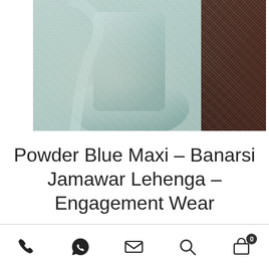[Figure (photo): A woman wearing a powder blue sequined/embroidered maxi lehenga dress posing in front of a building, with another person in dark clothing visible to the right.]
Powder Blue Maxi – Banarsi Jamawar Lehenga – Engagement Wear
$ 1,806
Bottom navigation bar with phone, WhatsApp, email, search, and cart (0) icons